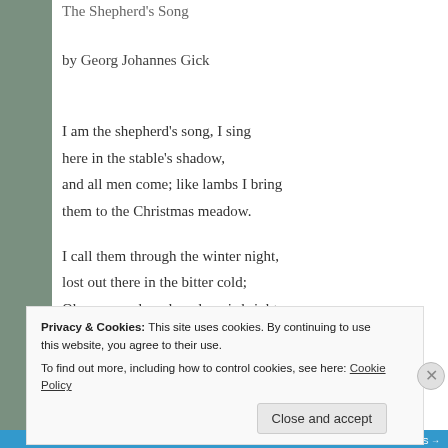The Shepherd's Song
by Georg Johannes Gick
I am the shepherd's song, I sing
here in the stable's shadow,
and all men come; like lambs I bring
them to the Christmas meadow.

I call them through the winter night,
lost out there in the bitter cold;
Oh come and see how love is bright
in the Good Shepherd's fold!
Privacy & Cookies: This site uses cookies. By continuing to use this website, you agree to their use.
To find out more, including how to control cookies, see here: Cookie Policy
Close and accept